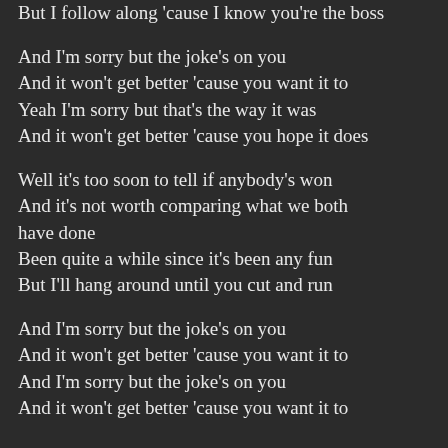But I follow along 'cause I know you're the boss
And I'm sorry but the joke's on you
And it won't get better 'cause you want it to
Yeah I'm sorry but that's the way it was
And it won't get better 'cause you hope it does
Well it's too soon to tell if anybody's won
And it's not worth comparing what we both have done
Been quite a while since it's been any fun
But I'll hang around until you cut and run
And I'm sorry but the joke's on you
And it won't get better 'cause you want it to
And I'm sorry but the joke's on you
And it won't get better 'cause you want it to